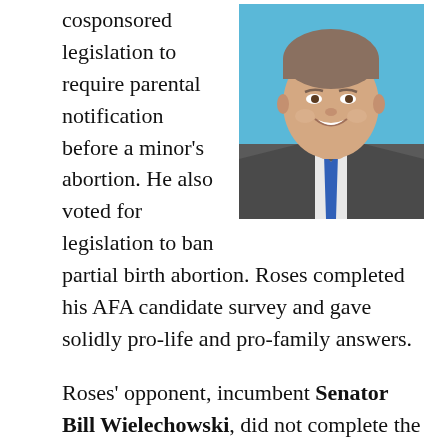[Figure (photo): Headshot photo of a smiling middle-aged man in a suit and blue tie against a blue background]
cosponsored legislation to require parental notification before a minor's abortion. He also voted for legislation to ban partial birth abortion. Roses completed his AFA candidate survey and gave solidly pro-life and pro-family answers.
Roses' opponent, incumbent Senator Bill Wielechowski, did not complete the AFA candidate survey. Wielechowski is a member of the liberal coalition in control of the Senate. Wielechowski has been endorsed by Planned Parenthood - the largest provider of abortions in the United States and in Alaska. Planned